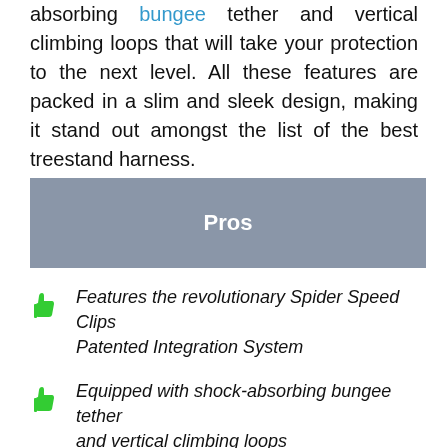absorbing bungee tether and vertical climbing loops that will take your protection to the next level. All these features are packed in a slim and sleek design, making it stand out amongst the list of the best treestand harness.
Pros
Features the revolutionary Spider Speed Clips Patented Integration System
Equipped with shock-absorbing bungee tether and vertical climbing loops
Ario mesh back and X-web fitting to enable you